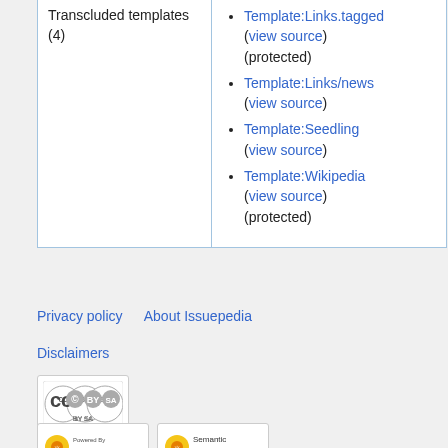| Transcluded templates (4) |  |
| --- | --- |
|  | Template:Links.tagged (view source) (protected)
Template:Links/news (view source)
Template:Seedling (view source)
Template:Wikipedia (view source) (protected) |
Template:Links.tagged (view source) (protected)
Template:Links/news (view source)
Template:Seedling (view source)
Template:Wikipedia (view source) (protected)
Privacy policy   About Issuepedia   Disclaimers
[Figure (logo): Creative Commons BY-SA license badge]
[Figure (logo): Powered by MediaWiki badge]
[Figure (logo): Semantic MediaWiki badge]